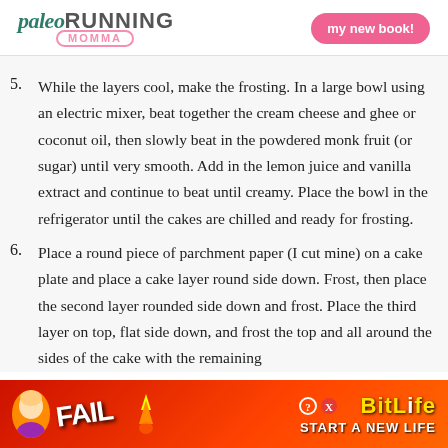paleo RUNNING MOMMA | my new book!
5. While the layers cool, make the frosting. In a large bowl using an electric mixer, beat together the cream cheese and ghee or coconut oil, then slowly beat in the powdered monk fruit (or sugar) until very smooth. Add in the lemon juice and vanilla extract and continue to beat until creamy. Place the bowl in the refrigerator until the cakes are chilled and ready for frosting.
6. Place a round piece of parchment paper (I cut mine) on a cake plate and place a cake layer round side down. Frost, then place the second layer rounded side down and frost. Place the third layer on top, flat side down, and frost the top and all around the sides of the cake with the remaining
[Figure (screenshot): Advertisement banner: BitLife - Start a New Life game ad with FAIL text and cartoon character]